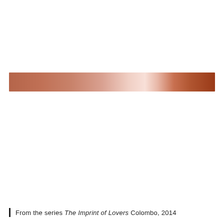[Figure (illustration): A horizontal strip/band showing a metallic copper/rose-gold gradient color swatch. The strip is dark copper-brown on the left, fades to a pale pinkish-white highlight in the center-right, then returns to a deep reddish-brown on the far right, suggesting a reflective metallic surface.]
From the series The Imprint of Lovers Colombo, 2014